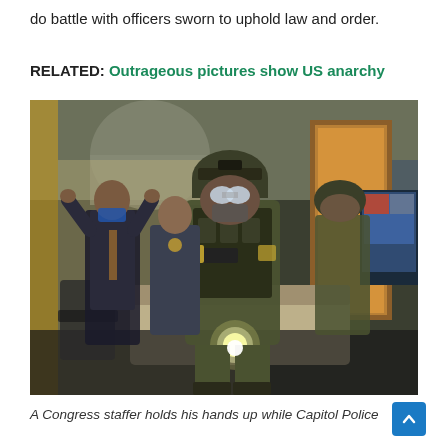do battle with officers sworn to uphold law and order.
RELATED: Outrageous pictures show US anarchy
[Figure (photo): Armed Capitol Police officers in tactical gear sweep through a Congressional office. In the foreground, a heavily armed officer in a helmet and goggles faces the camera. In the background, a Congress staffer holds his hands raised. Other officers in uniform are visible. A sofa and office furniture are in the room, with an open wooden door and a monitor visible.]
A Congress staffer holds his hands up while Capitol Police